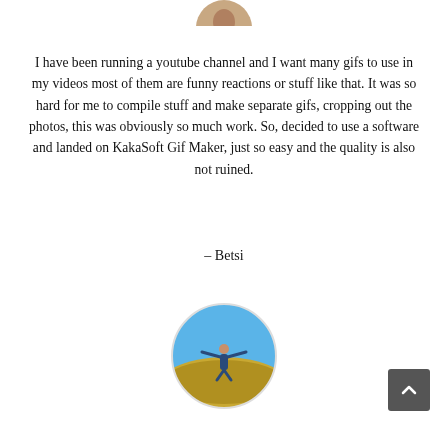[Figure (photo): Partial circular avatar photo cropped at top of page]
I have been running a youtube channel and I want many gifs to use in my videos most of them are funny reactions or stuff like that. It was so hard for me to compile stuff and make separate gifs, cropping out the photos, this was obviously so much work. So, decided to use a software and landed on KakaSoft Gif Maker, just so easy and the quality is also not ruined.
– Betsi
[Figure (photo): Circular avatar photo of a person jumping with arms spread on a hillside with blue sky background]